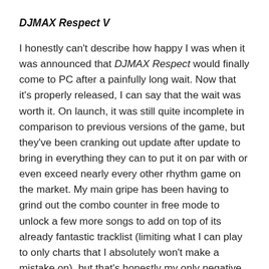DJMAX Respect V
I honestly can't describe how happy I was when it was announced that DJMAX Respect would finally come to PC after a painfully long wait. Now that it's properly released, I can say that the wait was worth it. On launch, it was still quite incomplete in comparison to previous versions of the game, but they've been cranking out update after update to bring in everything they can to put it on par with or even exceed nearly every other rhythm game on the market. My main gripe has been having to grind out the combo counter in free mode to unlock a few more songs to add on top of its already fantastic tracklist (limiting what I can play to only charts that I absolutely won't make a mistake on), but that's honestly my only negative as of this writing. Anything that WAS one, the devs caught in an update shortly after I even noticed.